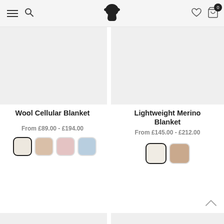Navigation header with hamburger menu, search, sheep logo, heart icon, and cart (0)
[Figure (photo): Product image placeholder for Wool Cellular Blanket (light grey rectangle)]
Wool Cellular Blanket
From £89.00 - £194.00
[Figure (photo): Four color swatches for Wool Cellular Blanket: cream/white, pink-beige, soft pink, light blue]
[Figure (photo): Product image placeholder for Lightweight Merino Blanket (light grey rectangle)]
Lightweight Merino Blanket
From £145.00 - £212.00
[Figure (photo): Two color swatches for Lightweight Merino Blanket: cream/white (selected), blush/taupe]